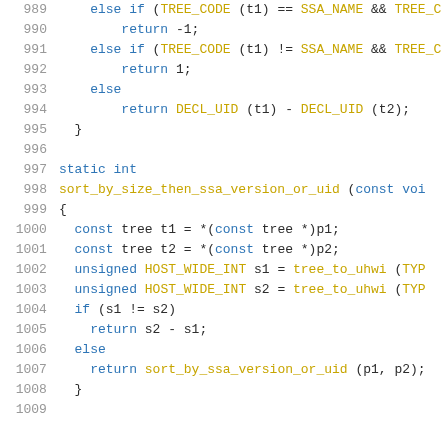[Figure (screenshot): Source code listing in C showing lines 989-1009 of a program, with syntax highlighting. Blue keywords, yellow function/macro names, dark text for other code. Functions shown include sort_by_size_then_ssa_version_or_uid and sort_by_ssa_version_or_uid.]